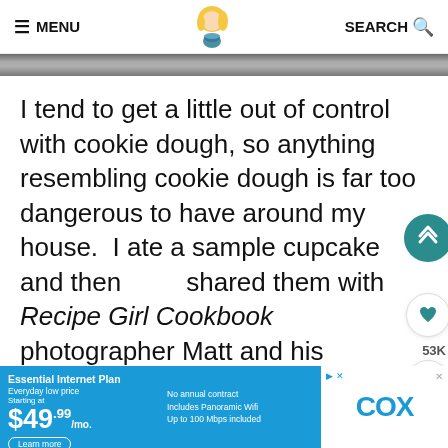≡ MENU | [logo] | SEARCH 🔍
[Figure (photo): Decorative banner image strip showing a blurred food/baking scene]
I tend to get a little out of control with cookie dough, so anything resembling cookie dough is far too dangerous to have around my house.  I ate a sample cupcake and then shared them with Recipe Girl Cookbook photographer Matt and his fabulous team when I visited his studio for the cookbook shoot last week.  They had plenty of food lying around from the shoot, but I'm pretty
[Figure (screenshot): Cox Essential Internet Plan advertisement banner: Essential Internet Plan, Everyday low price, Starting at $49.99/mo., No annual contract, Includes Panoramic Wifi, Up to 100 Mbps included, Learn more. COX logo on white background.]